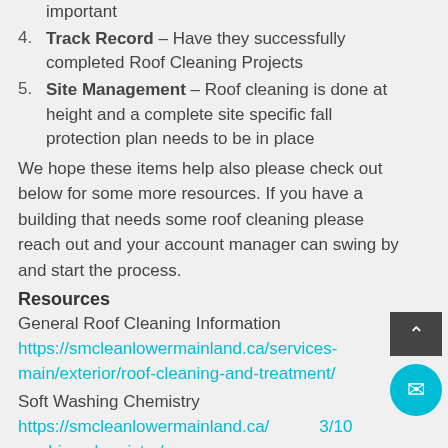important
4. Track Record – Have they successfully completed Roof Cleaning Projects
5. Site Management – Roof cleaning is done at height and a complete site specific fall protection plan needs to be in place
We hope these items help also please check out below for some more resources. If you have a building that needs some roof cleaning please reach out and your account manager can swing by and start the process.
Resources
General Roof Cleaning Information https://smcleanlowermainland.ca/services-main/exterior/roof-cleaning-and-treatment/
Soft Washing Chemistry https://smcleanlowermainland.ca/...washing-chemistry/
Video
Link: https://www.youtube.com/watch?...